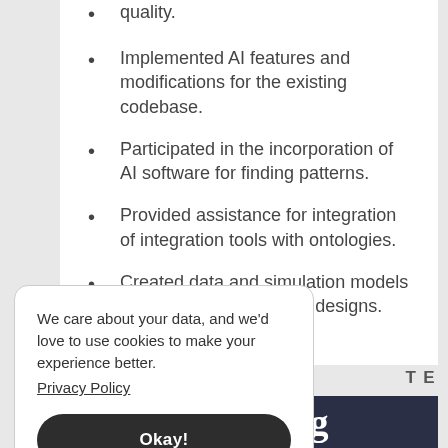quality.
Implemented AI features and modifications for the existing codebase.
Participated in the incorporation of AI software for finding patterns.
Provided assistance for integration of integration tools with ontologies.
Created data and simulation models through Hub and Spoke designs.
We care about your data, and we'd love to use cookies to make your experience better. Privacy Policy
Okay!
T E
Th ng